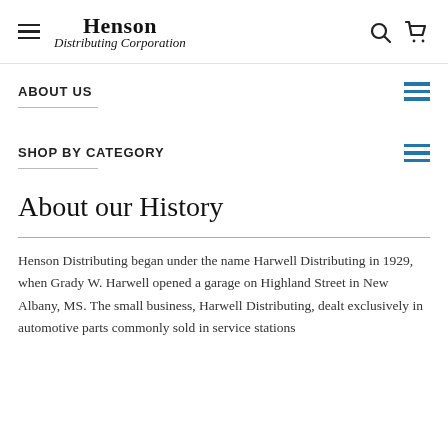Henson Distributing Corporation
ABOUT US
SHOP BY CATEGORY
About our History
Henson Distributing began under the name Harwell Distributing in 1929, when Grady W. Harwell opened a garage on Highland Street in New Albany, MS. The small business, Harwell Distributing, dealt exclusively in automotive parts commonly sold in service stations